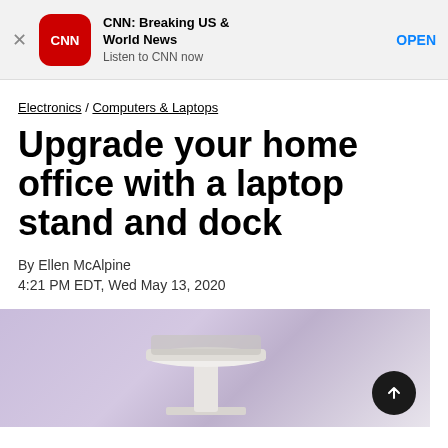[Figure (screenshot): CNN app banner advertisement with CNN logo, title 'CNN: Breaking US & World News', subtitle 'Listen to CNN now', and an OPEN button]
Electronics / Computers & Laptops
Upgrade your home office with a laptop stand and dock
By Ellen McAlpine
4:21 PM EDT, Wed May 13, 2020
[Figure (photo): Photo of a laptop stand/dock product on a purple background]